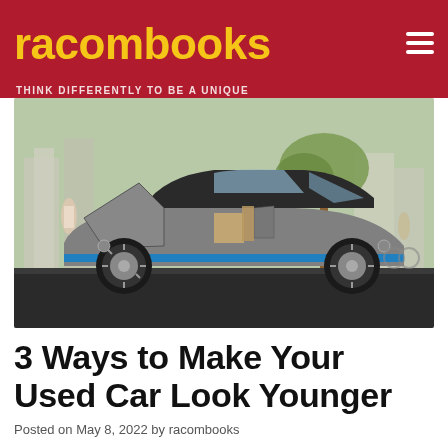racombooks
THINK DIFFERENTLY TO BE A UNIQUE
[Figure (photo): Side view of a BMW i3 electric car with doors open, parked on a city street with people in the background]
3 Ways to Make Your Used Car Look Younger
Posted on May 8, 2022 by racombooks